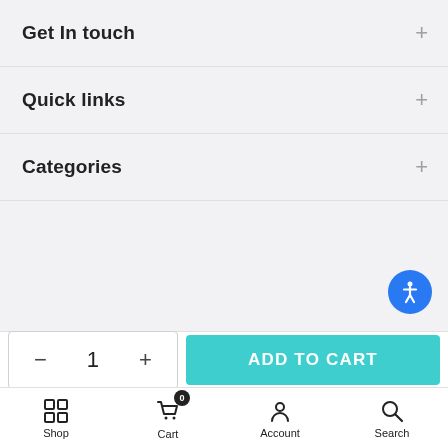Get In touch
Quick links
Categories
Copyright © 2022 PhotoPaperDirect all rights reserved.
Terms and Conditions   Privacy Policy